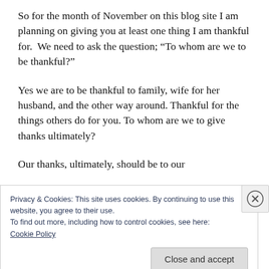So for the month of November on this blog site I am planning on giving you at least one thing I am thankful for.  We need to ask the question; “To whom are we to be thankful?”
Yes we are to be thankful to family, wife for her husband, and the other way around. Thankful for the things others do for you. To whom are we to give thanks ultimately?
Our thanks, ultimately, should be to our
Privacy & Cookies: This site uses cookies. By continuing to use this website, you agree to their use.
To find out more, including how to control cookies, see here:
Cookie Policy